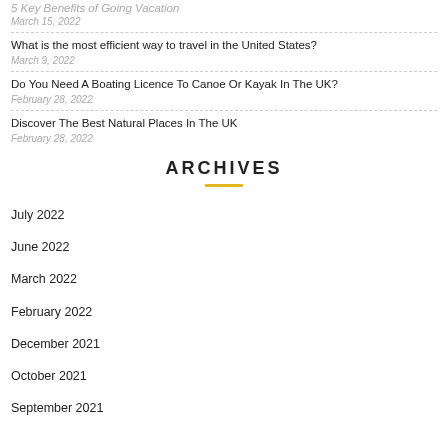5 Key Benefits of Going Vacation
March 15, 2022
What is the most efficient way to travel in the United States?
March 9, 2022
Do You Need A Boating Licence To Canoe Or Kayak In The UK?
February 28, 2022
Discover The Best Natural Places In The UK
February 28, 2022
ARCHIVES
July 2022
June 2022
March 2022
February 2022
December 2021
October 2021
September 2021